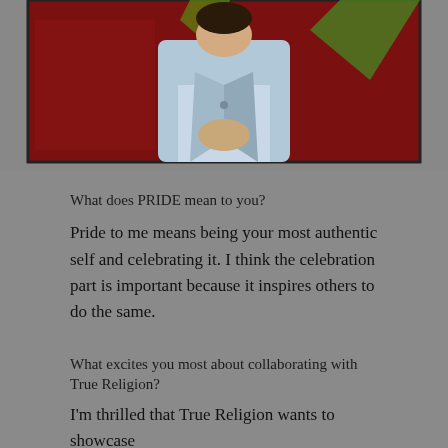[Figure (photo): Photo of a person in a denim jacket against a red background with a graphic/artwork, cropped to show upper body with hands clasped]
What does PRIDE mean to you?
Pride to me means being your most authentic self and celebrating it. I think the celebration part is important because it inspires others to do the same.
What excites you most about collaborating with True Religion?
I'm thrilled that True Religion wants to showcase